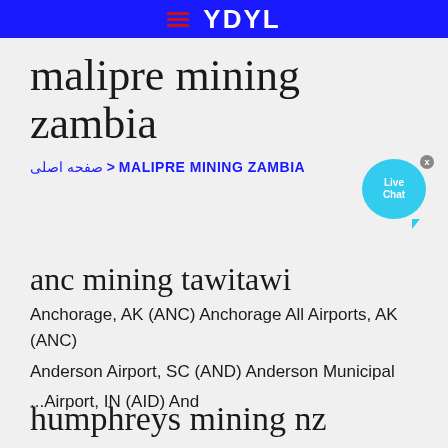YDYL
malipre mining zambia
صفحه اصلی > MALIPRE MINING ZAMBIA
[Figure (illustration): Live Chat bubble widget with close button]
anc mining tawitawi
Anchorage, AK (ANC) Anchorage All Airports, AK (ANC) Anderson Airport, SC (AND) Anderson Municipal ...Airport, IN (AID) And
humphreys mining nz